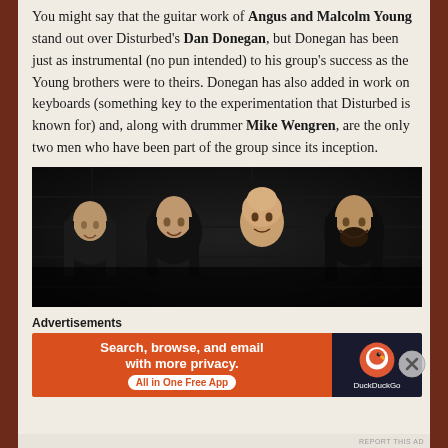You might say that the guitar work of Angus and Malcolm Young stand out over Disturbed's Dan Donegan, but Donegan has been just as instrumental (no pun intended) to his group's success as the Young brothers were to theirs. Donegan has also added in work on keyboards (something key to the experimentation that Disturbed is known for) and, along with drummer Mike Wengren, are the only two men who have been part of the group since its inception.
[Figure (photo): Band photo of four men with long dark hair (and one bald member) posed against a stone/brick wall background, dark dramatic lighting.]
Advertisements
[Figure (other): DuckDuckGo advertisement banner: orange left side reading 'Search, browse, and email with more privacy. All in One Free App', dark right side with DuckDuckGo duck logo and brand name.]